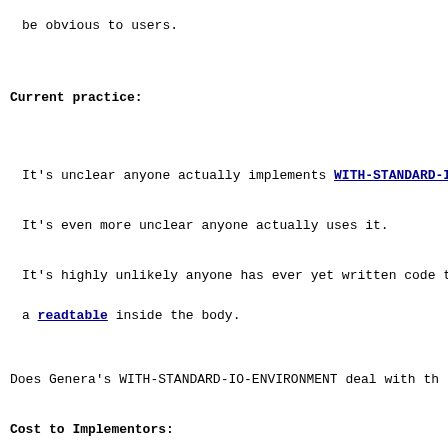be obvious to users.
Current practice:
It's unclear anyone actually implements WITH-STANDARD-I
It's even more unclear anyone actually uses it.
It's highly unlikely anyone has ever yet written code t
a readtable inside the body.
Does Genera's WITH-STANDARD-IO-ENVIRONMENT deal with th
Cost to Implementors: